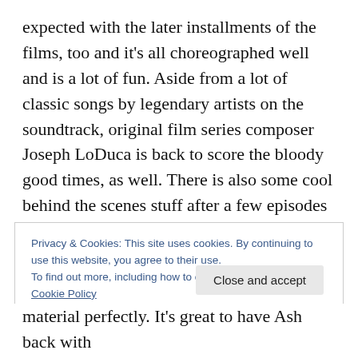expected with the later installments of the films, too and it's all choreographed well and is a lot of fun. Aside from a lot of classic songs by legendary artists on the soundtrack, original film series composer Joseph LoDuca is back to score the bloody good times, as well. There is also some cool behind the scenes stuff after a few episodes to add something a little extra for fans. As the series has already been renewed for a second season, it's no spoiler that Ash's work isn't done by the time the season finale concludes.
Privacy & Cookies: This site uses cookies. By continuing to use this website, you agree to their use. To find out more, including how to control cookies, see here: Cookie Policy
material perfectly. It's great to have Ash back with